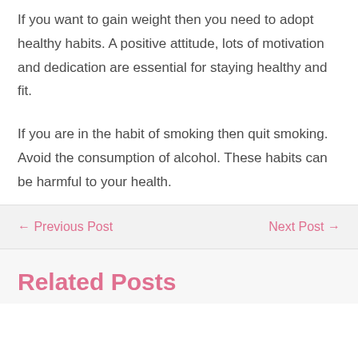If you want to gain weight then you need to adopt healthy habits. A positive attitude, lots of motivation and dedication are essential for staying healthy and fit.
If you are in the habit of smoking then quit smoking. Avoid the consumption of alcohol. These habits can be harmful to your health.
← Previous Post    Next Post →
Related Posts